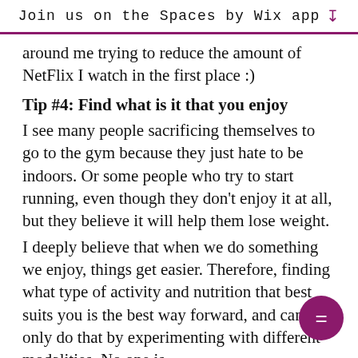Join us on the Spaces by Wix app ↓
around me trying to reduce the amount of NetFlix I watch in the first place :)
Tip #4: Find what is it that you enjoy
I see many people sacrificing themselves to go to the gym because they just hate to be indoors. Or some people who try to start running, even though they don't enjoy it at all, but they believe it will help them lose weight.
I deeply believe that when we do something we enjoy, things get easier. Therefore, finding what type of activity and nutrition that best suits you is the best way forward, and can only do that by experimenting with different modalities. No one is